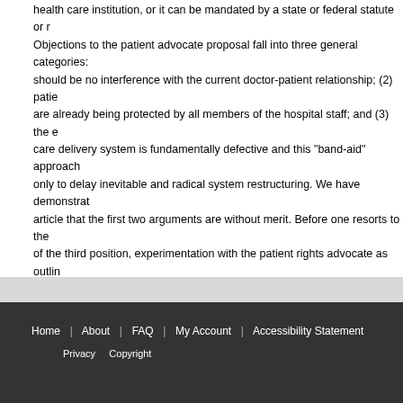health care institution, or it can be mandated by a state or federal statute or r Objections to the patient advocate proposal fall into three general categories: ( should be no interference with the current doctor-patient relationship; (2) patie are already being protected by all members of the hospital staff; and (3) the e care delivery system is fundamentally defective and this "band-aid" approach only to delay inevitable and radical system restructuring. We have demonstrat article that the first two arguments are without merit. Before one resorts to the of the third position, experimentation with the patient rights advocate as outlin is called for. While certainly no panacea, the advocate could help not only the patient but also society and the medical profession in working toward what mu common goal: ensuring that human rights do not become victims of medical p
Recommended Citation
George J. Annas and Joseph M. Healey, Jr., The Patient Rights Advocate: Redefinin Doctor-Patient Relationship in the Hospital Context, 27 Vanderbilt Law Review 243 (1 Available at: https://scholarship.law.vanderbilt.edu/vlr/vol27/iss2/2
Home | About | FAQ | My Account | Accessibility Statement Privacy   Copyright